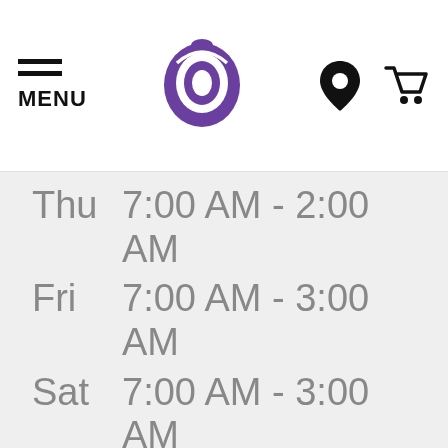MENU | Taco Bell logo | location icon | cart icon
| Day | Hours |
| --- | --- |
| Thu | 7:00 AM - 2:00 AM |
| Fri | 7:00 AM - 3:00 AM |
| Sat | 7:00 AM - 3:00 AM |
DINE-IN HOURS